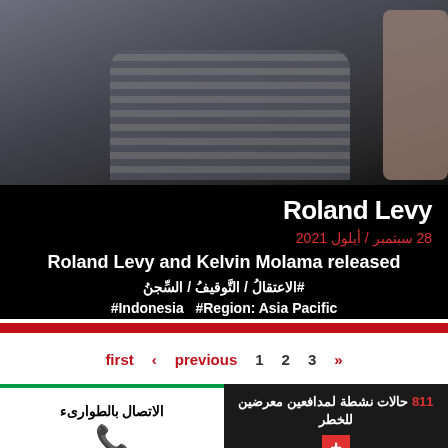[Figure (photo): Photo of a person wearing a striped shirt, with another person's hand visible on the right side.]
Roland Levy
28 سبتمبر / أيلول 2021
Roland Levy and Kelvin Molama released
#الاعتقالُ / التَّوقيفُ / السِّجنُ
#Indonesia  #Region: Asia Pacific
first  ‹ previous    1    2    3    »
الاتصال بالطوارىء
811 حالات نشطة لمدافعين معرضين للخطر
PROTECT ONE EMPOWER A THOUSAND